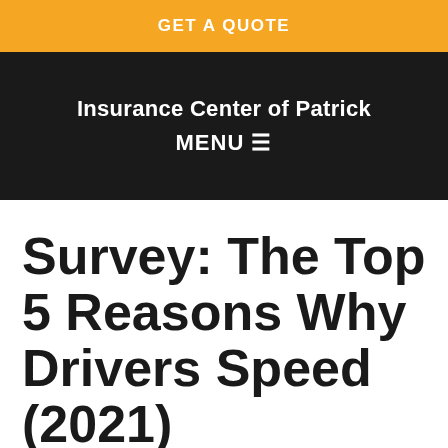GET A QUOTE
Insurance Center of Patrick
MENU ☰
Survey: The Top 5 Reasons Why Drivers Speed (2021)